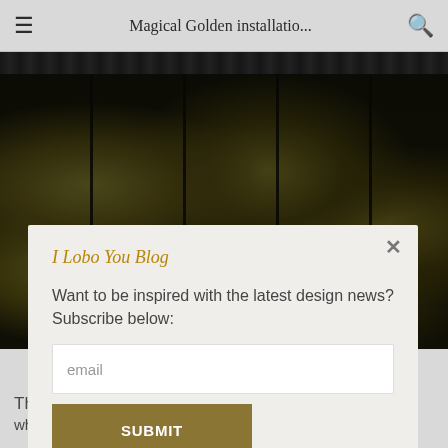Magical Golden installatio...
[Figure (photo): Dark decorative strip at top showing ornate metallic details]
[Figure (photo): Bokeh photograph of a dark background with blurred golden/yellow light orbs and vertical dark rod-like elements, suggesting a golden installation artwork]
I Lobo You Blog
Want to be inspired with the latest design news? Subscribe below:
Th
what makes the installation tick is 65,000 base plates, the